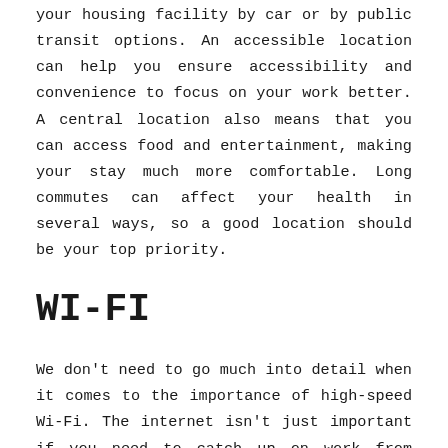your housing facility by car or by public transit options. An accessible location can help you ensure accessibility and convenience to focus on your work better. A central location also means that you can access food and entertainment, making your stay much more comfortable. Long commutes can affect your health in several ways, so a good location should be your top priority.
WI-FI
We don't need to go much into detail when it comes to the importance of high-speed Wi-Fi. The internet isn't just important if you need to catch up on work from home. Instead, high-speed internet can help you stay connected to your family back home too. Furthermore, with fast internet, you can relax and unwind easily after a long workday.
HOUSEKEEPING SERVICES